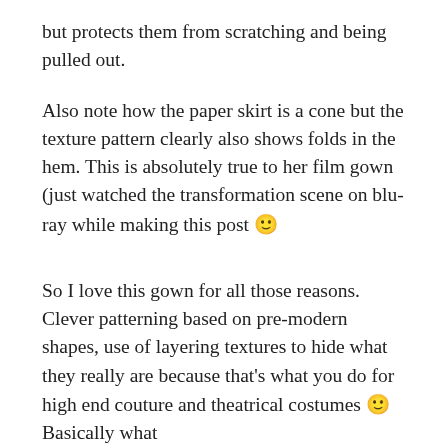but protects them from scratching and being pulled out.
Also note how the paper skirt is a cone but the texture pattern clearly also shows folds in the hem. This is absolutely true to her film gown (just watched the transformation scene on blu-ray while making this post 🙂
So I love this gown for all those reasons. Clever patterning based on pre-modern shapes, use of layering textures to hide what they really are because that's what you do for high end couture and theatrical costumes 🙂 Basically what